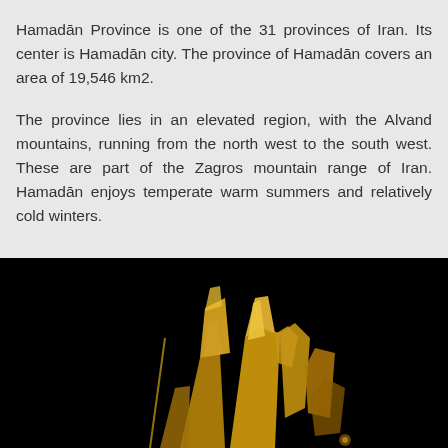Hamadān Province is one of the 31 provinces of Iran. Its center is Hamadān city. The province of Hamadān covers an area of 19,546 km2.
The province lies in an elevated region, with the Alvand mountains, running from the north west to the south west. These are part of the Zagros mountain range of Iran. Hamadān enjoys temperate warm summers and relatively cold winters.
[Figure (photo): A photograph with a black background showing a golden metallic sculpture or artifact with angular, blade-like forms catching the light.]